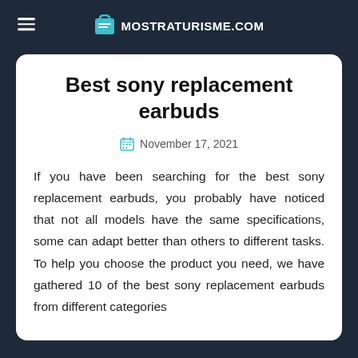MOSTRATURISME.COM
Best sony replacement earbuds
November 17, 2021
If you have been searching for the best sony replacement earbuds, you probably have noticed that not all models have the same specifications, some can adapt better than others to different tasks. To help you choose the product you need, we have gathered 10 of the best sony replacement earbuds from different categories